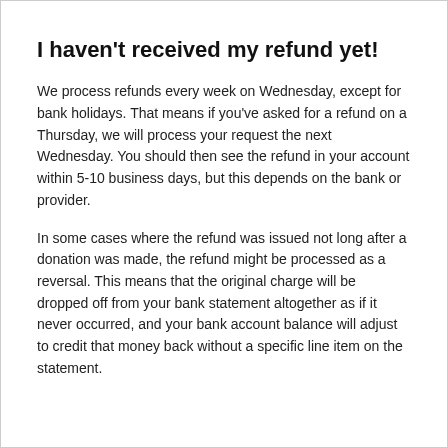I haven't received my refund yet!
We process refunds every week on Wednesday, except for bank holidays. That means if you've asked for a refund on a Thursday, we will process your request the next Wednesday. You should then see the refund in your account within 5-10 business days, but this depends on the bank or provider.
In some cases where the refund was issued not long after a donation was made, the refund might be processed as a reversal. This means that the original charge will be dropped off from your bank statement altogether as if it never occurred, and your bank account balance will adjust to credit that money back without a specific line item on the statement.